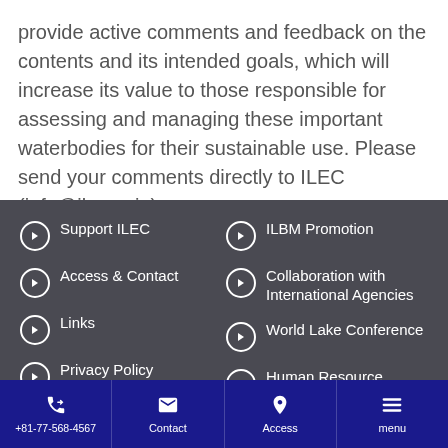provide active comments and feedback on the contents and its intended goals, which will increase its value to those responsible for assessing and managing these important waterbodies for their sustainable use. Please send your comments directly to ILEC (info@ilec.or.jp)
Support ILEC
Access & Contact
Links
Privacy Policy
Term of Use
ILBM Promotion
Collaboration with International Agencies
World Lake Conference
Human Resource Development for Lakes
+81-77-568-4567  Contact  Access  menu